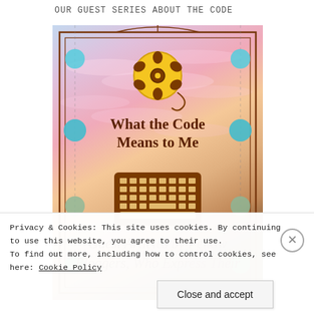OUR GUEST SERIES ABOUT THE CODE
[Figure (illustration): Promotional banner image for a blog guest series titled 'What the Code Means to Me'. Features a pink/golden sunset sky background with a decorative brown border frame, dashed vertical side lines, colored circles on both sides (teal, teal, green/gray, green from top to bottom), a film reel icon at the top center, a keyboard icon in the middle, and text in brown: 'What the Code Means to Me' (bold serif) and 'Guest Articles by Fellow Bloggers, Who Express Their' (italic serif, cut off).]
Privacy & Cookies: This site uses cookies. By continuing to use this website, you agree to their use.
To find out more, including how to control cookies, see here: Cookie Policy
Close and accept